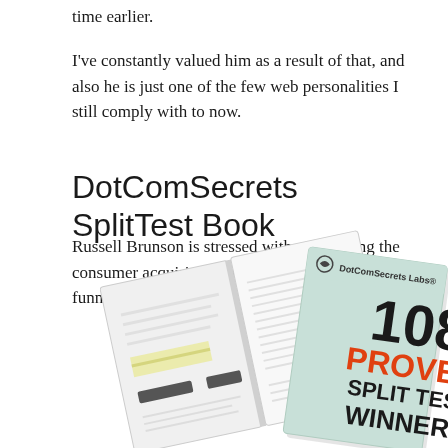time earlier.
I've constantly valued him as a result of that, and also he is just one of the few web personalities I still comply with to now.
DotComSecrets SplitTest Book
Russell Brunson is stressed with researching the consumer acquiring behavior with building sales funnels.
[Figure (illustration): Open book and a cover of a book titled '108 Proven Split Test Winners' by DotComSecrets Labs, shown overlapping]